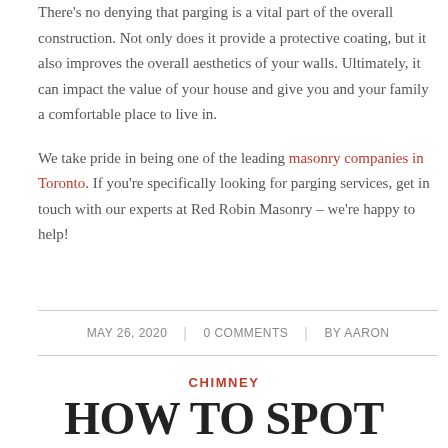There's no denying that parging is a vital part of the overall construction. Not only does it provide a protective coating, but it also improves the overall aesthetics of your walls. Ultimately, it can impact the value of your house and give you and your family a comfortable place to live in.

We take pride in being one of the leading masonry companies in Toronto. If you're specifically looking for parging services, get in touch with our experts at Red Robin Masonry – we're happy to help!
MAY 26, 2020 | 0 COMMENTS | BY AARON
CHIMNEY
HOW TO SPOT